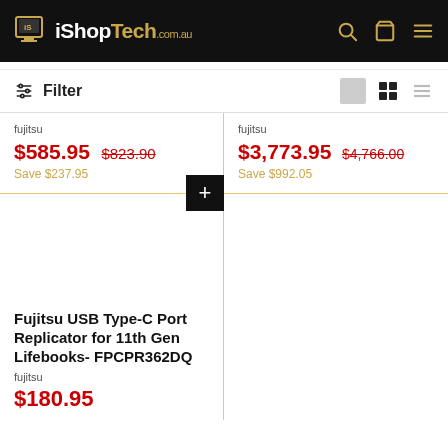iShopTech.com.au
Filter
fujitsu
$585.95  $823.90
Save $237.95
fujitsu
$3,773.95  $4,766.00
Save $992.05
Fujitsu USB Type-C Port Replicator for 11th Gen Lifebooks- FPCPR362DQ
fujitsu
$180.95